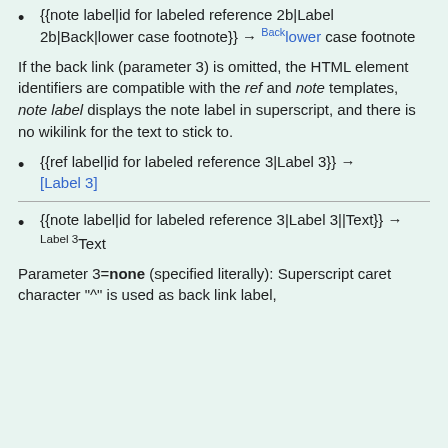{{note label|id for labeled reference 2b|Label 2b|Back|lower case footnote}} → Backlower case footnote
If the back link (parameter 3) is omitted, the HTML element identifiers are compatible with the ref and note templates, note label displays the note label in superscript, and there is no wikilink for the text to stick to.
{{ref label|id for labeled reference 3|Label 3}} → [Label 3]
{{note label|id for labeled reference 3|Label 3||Text}} → Label 3Text
Parameter 3=none (specified literally): Superscript caret character "^" is used as back link label,